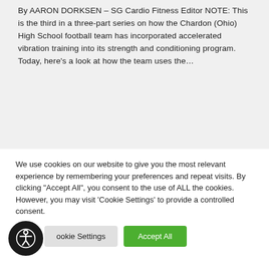By AARON DORKSEN – SG Cardio Fitness Editor NOTE: This is the third in a three-part series on how the Chardon (Ohio) High School football team has incorporated accelerated vibration training into its strength and conditioning program. Today, here's a look at how the team uses the...
We use cookies on our website to give you the most relevant experience by remembering your preferences and repeat visits. By clicking "Accept All", you consent to the use of ALL the cookies. However, you may visit 'Cookie Settings' to provide a controlled consent.